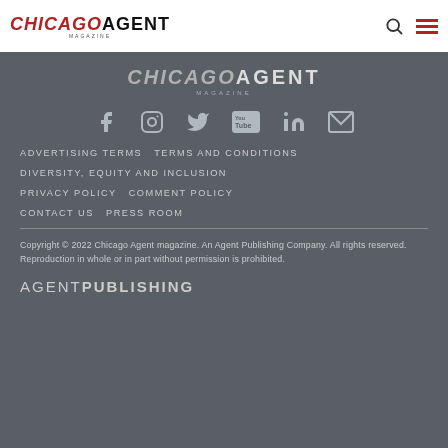CHICAGO AGENT MAGAZINE
[Figure (logo): Chicago Agent Magazine logo in footer - grey and white color scheme]
[Figure (infographic): Social media icons row: Facebook, Instagram, Twitter, YouTube, LinkedIn, Email]
ADVERTISING TERMS  TERMS AND CONDITIONS
DIVERSITY, EQUITY AND INCLUSION
PRIVACY POLICY  COMMENT POLICY
CONTACT US  PRESS ROOM
Copyright © 2022 Chicago Agent magazine. An Agent Publishing Company. All rights reserved. Reproduction in whole or in part without permission is prohibited.
[Figure (logo): Agent Publishing logo - white text, thin and bold weight]